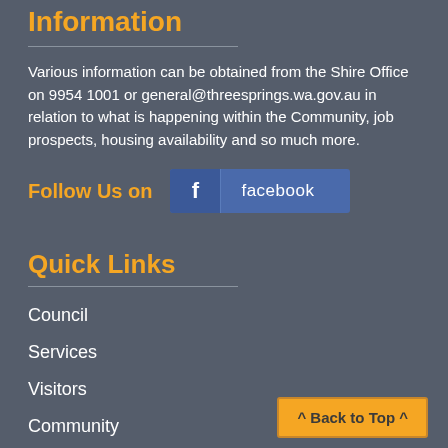Information
Various information can be obtained from the Shire Office on 9954 1001 or general@threesprings.wa.gov.au in relation to what is happening within the Community, job prospects, housing availability and so much more.
Follow Us on facebook
Quick Links
Council
Services
Visitors
Community
Photo Galleries
Terms and Conditions
^ Back to Top ^